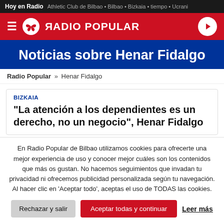Hoy en Radio | Athletic Club de Bilbao • Bilbao • Bizkaia • tiempo • Ucrani
[Figure (logo): Radio Popular logo and navigation bar with hamburger menu, butterfly logo, RADIO POPULAR text, and play button on red background]
Noticias sobre Henar Fidalgo
Radio Popular » Henar Fidalgo
BIZKAIA
"La atención a los dependientes es un derecho, no un negocio", Henar Fidalgo
En Radio Popular de Bilbao utilizamos cookies para ofrecerte una mejor experiencia de uso y conocer mejor cuáles son los contenidos que más os gustan. No hacemos seguimientos que invadan tu privacidad ni ofrecemos publicidad personalizada según tu navegación. Al hacer clic en 'Aceptar todo', aceptas el uso de TODAS las cookies.
Rechazar y salir | Aceptar todas y continuar | Leer más